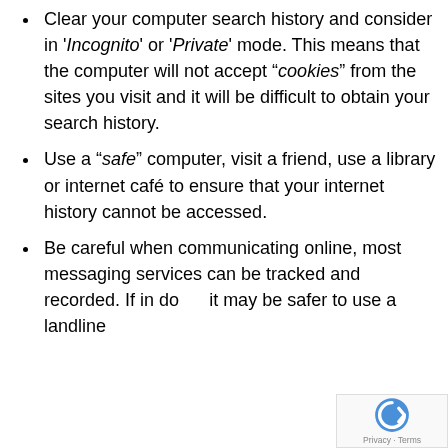Clear your computer search history and consider in 'Incognito' or 'Private' mode. This means that the computer will not accept “cookies” from the sites you visit and it will be difficult to obtain your search history.
Use a “safe” computer, visit a friend, use a library or internet café to ensure that your internet history cannot be accessed.
Be careful when communicating online, most messaging services can be tracked and recorded. If in doubt it may be safer to use a landline